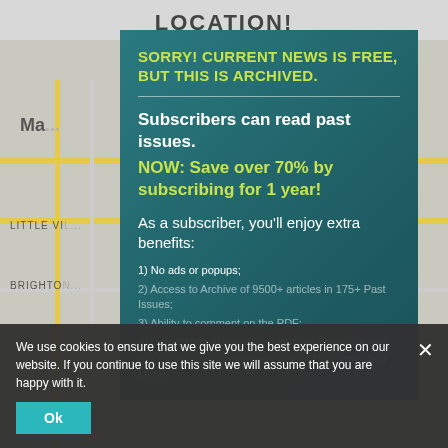[Figure (screenshot): Background map showing street layout with labels 'Ma...', 'LITTLE VI...', 'BRIGHTO...' and a yellow road]
SORRY! CURRENT NEWS IS FREE, BUT THIS IS ARCHIVED.
Subscribers can read past issues. NOW: Save over 70% by subscribing for 1 year!
As a subscriber, you'll enjoy extra benefits:
1) No ads or popups;
2) Access to Archive of 9500+ articles in 175+ Past Issues;
3) Ability to comment on the PDF;
4) Satisfaction of supporting investigative work; and
5) Email notification of new issues (2X/month). And More!
We use cookies to ensure that we give you the best experience on our website. If you continue to use this site we will assume that you are happy with it.